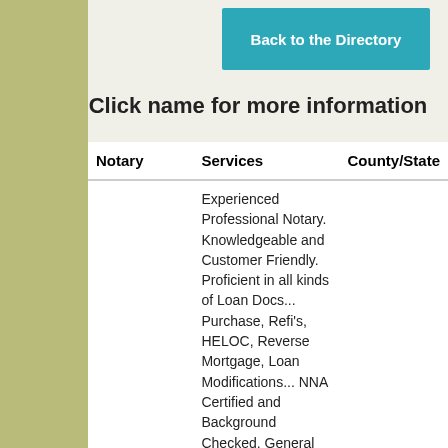Back to the Directory
Click name for more information
| Notary | Services | County/State |
| --- | --- | --- |
| Hart Lee Notary Service | Experienced Professional Notary. Knowledgeable and Customer Friendly. Proficient in all kinds of Loan Docs... Purchase, Refi's, HELOC, Reverse Mortgage, Loan Modifications... NNA Certified and Background Checked. General Notary Service such as Affidavits, Power of Attorney, Wills, Deeds, Trusts, Health Directives, DMV | Lamar, AL |